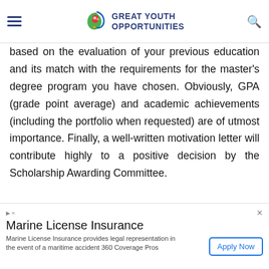GREAT YOUTH OPPORTUNITIES
based on the evaluation of your previous education and its match with the requirements for the master's degree program you have chosen. Obviously, GPA (grade point average) and academic achievements (including the portfolio when requested) are of utmost importance. Finally, a well-written motivation letter will contribute highly to a positive decision by the Scholarship Awarding Committee.
Similar opportunities
Marine License Insurance
Marine License Insurance provides legal representation in the event of a maritime accident 360 Coverage Pros